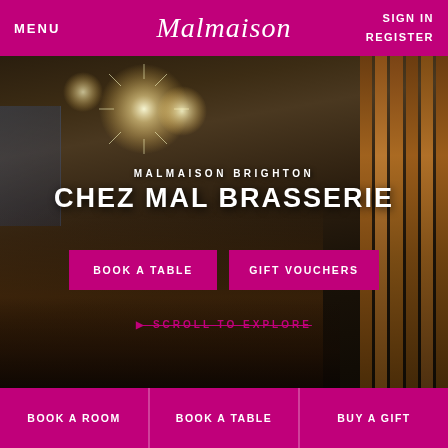MENU | Malmaison | SIGN IN REGISTER
[Figure (photo): Interior of Chez Mal Brasserie at Malmaison Brighton, showing restaurant dining area with blue booth seating, wooden partition screens on the right, dramatic ceiling lighting with starburst lights, and dining tables with wine glasses and chairs in various colors.]
MALMAISON BRIGHTON
CHEZ MAL BRASSERIE
BOOK A TABLE
GIFT VOUCHERS
SCROLL TO EXPLORE
BOOK A ROOM | BOOK A TABLE | BUY A GIFT